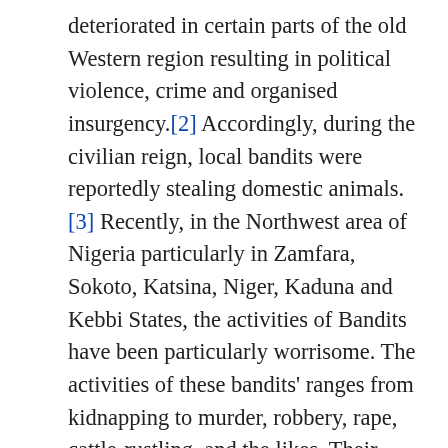deteriorated in certain parts of the old Western region resulting in political violence, crime and organised insurgency.[2] Accordingly, during the civilian reign, local bandits were reportedly stealing domestic animals. [3] Recently, in the Northwest area of Nigeria particularly in Zamfara, Sokoto, Katsina, Niger, Kaduna and Kebbi States, the activities of Bandits have been particularly worrisome. The activities of these bandits' ranges from kidnapping to murder, robbery, rape, cattle-rustling, and the likes. Their modus operandi involves maiming and killing their victims when they least expect. Usually, they mobilized themselves through the forests into the neighborhood riding on fast motorcycles especially in the nights and shoot at will. Sometimes in the afternoon, once they were sure there were no security presence of the police or